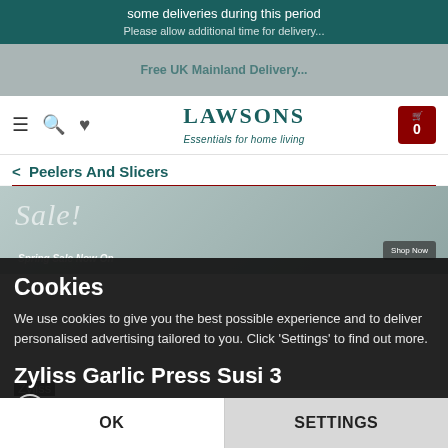some deliveries during this period
Please allow additional time for delivery...
[Figure (screenshot): Gray banner with partial text: Free UK Mainland Delivery]
LAWSONS Essentials for home living
< Peelers And Slicers
[Figure (photo): Sale promotional hero image with cursive Sale text overlay and Shop Now button]
Cookies
We use cookies to give you the best possible experience and to deliver personalised advertising tailored to you. Click 'Settings' to find out more.
Zyliss Garlic Press Susi 3
Zyliss